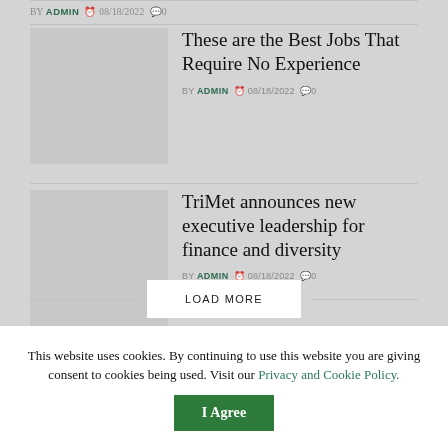BY ADMIN  08/18/2022  0
These are the Best Jobs That Require No Experience
BY ADMIN  08/18/2022  0
TriMet announces new executive leadership for finance and diversity
BY ADMIN  08/18/2022  0
How the Inflation Reduction Act Impacts Medicare Drug Prices
BY ADMIN  08/18/2022  0
LOAD MORE
This website uses cookies. By continuing to use this website you are giving consent to cookies being used. Visit our Privacy and Cookie Policy.